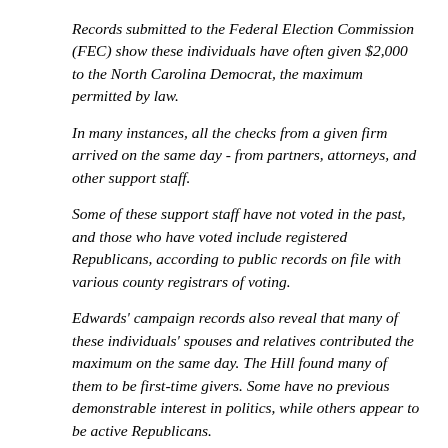Records submitted to the Federal Election Commission (FEC) show these individuals have often given $2,000 to the North Carolina Democrat, the maximum permitted by law.
In many instances, all the checks from a given firm arrived on the same day - from partners, attorneys, and other support staff.
Some of these support staff have not voted in the past, and those who have voted include registered Republicans, according to public records on file with various county registrars of voting.
Edwards' campaign records also reveal that many of these individuals' spouses and relatives contributed the maximum on the same day. The Hill found many of them to be first-time givers. Some have no previous demonstrable interest in politics, while others appear to be active Republicans.
Yeah, but it wasn't as huge a scam as Dinesh D'Souza's 15 grand, was it?
In the three-month financial reporting period ended